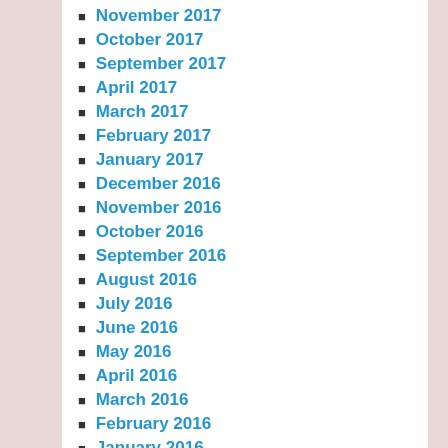November 2017
October 2017
September 2017
April 2017
March 2017
February 2017
January 2017
December 2016
November 2016
October 2016
September 2016
August 2016
July 2016
June 2016
May 2016
April 2016
March 2016
February 2016
January 2016
December 2015
November 2015
October 2015